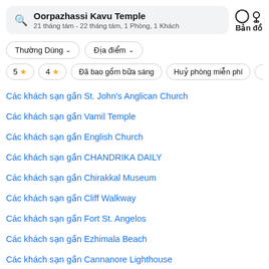Oorpazhassi Kavu Temple
21 tháng tám - 22 tháng tám, 1 Phòng, 1 Khách
Bản đồ
Thường Dùng
Địa điểm
5 ★
4 ★
Đã bao gồm bữa sáng
Huỷ phòng miễn phí
Các khách sạn gần St. John's Anglican Church
Các khách sạn gần Vamil Temple
Các khách sạn gần English Church
Các khách sạn gần CHANDRIKA DAILY
Các khách sạn gần Chirakkal Museum
Các khách sạn gần Cliff Walkway
Các khách sạn gần Fort St. Angelos
Các khách sạn gần Ezhimala Beach
Các khách sạn gần Cannanore Lighthouse